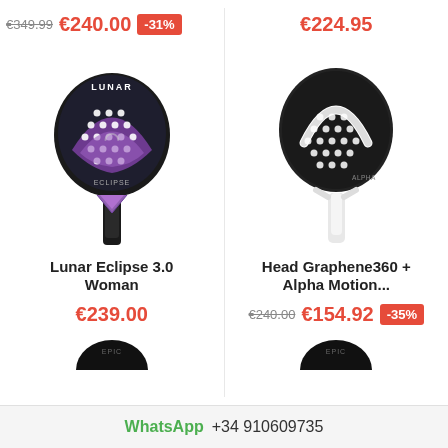€349.99 €240.00 -31%
€224.95
[Figure (photo): Lunar Eclipse 3.0 Woman padel racket, dark purple/black with white dots and purple crescent design, with handle]
[Figure (photo): Head Graphene360+ Alpha Motion padel racket, black head with white dots and white HEAD logo, white handle/frame]
Lunar Eclipse 3.0 Woman
Head Graphene360 + Alpha Motion...
€239.00
€240.00 €154.92 -35%
[Figure (photo): Partial view of EPIC padel racket (bottom only visible)]
[Figure (photo): Partial view of EPIC padel racket (bottom only visible)]
WhatsApp +34 910609735